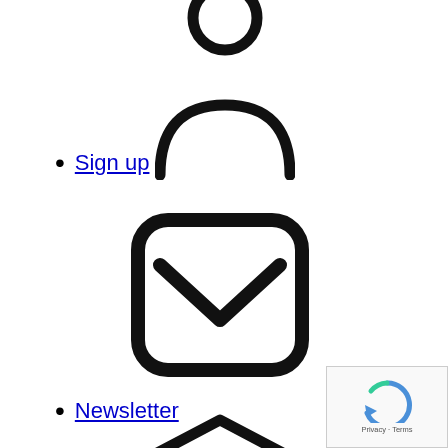[Figure (illustration): Person/user icon (upper body silhouette) — outline style, thick black strokes]
Sign up
[Figure (illustration): Envelope/mail icon with rounded square border and checkmark-like flap — outline style, thick black strokes]
Newsletter
[Figure (illustration): Graduation cap icon with tassel — outline style, thick black strokes]
Investor academy
[Figure (illustration): Partial icon visible at bottom (person/user silhouette, cropped)]
[Figure (other): reCAPTCHA widget with Google logo, Privacy and Terms links]